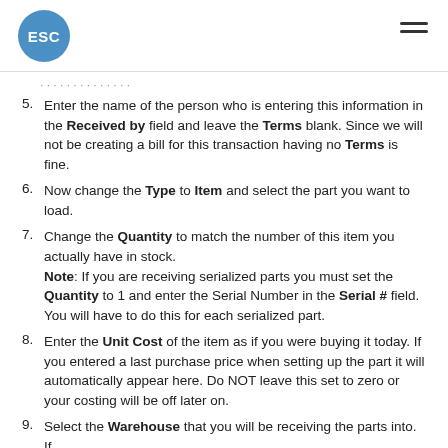ESC
Enter the name of the person who is entering this information in the Received by field and leave the Terms blank. Since we will not be creating a bill for this transaction having no Terms is fine.
Now change the Type to Item and select the part you want to load.
Change the Quantity to match the number of this item you actually have in stock. Note: If you are receiving serialized parts you must set the Quantity to 1 and enter the Serial Number in the Serial # field. You will have to do this for each serialized part.
Enter the Unit Cost of the item as if you were buying it today. If you entered a last purchase price when setting up the part it will automatically appear here. Do NOT leave this set to zero or your costing will be off later on.
Select the Warehouse that you will be receiving the parts into. If